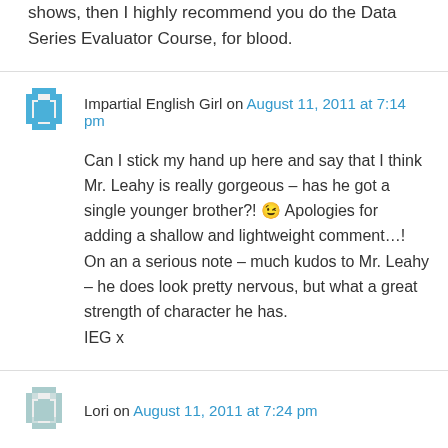shows, then I highly recommend you do the Data Series Evaluator Course, for blood.
Impartial English Girl on August 11, 2011 at 7:14 pm
Can I stick my hand up here and say that I think Mr. Leahy is really gorgeous – has he got a single younger brother?! 😉 Apologies for adding a shallow and lightweight comment…! On an a serious note – much kudos to Mr. Leahy – he does look pretty nervous, but what a great strength of character he has.
IEG x
Lori on August 11, 2011 at 7:24 pm